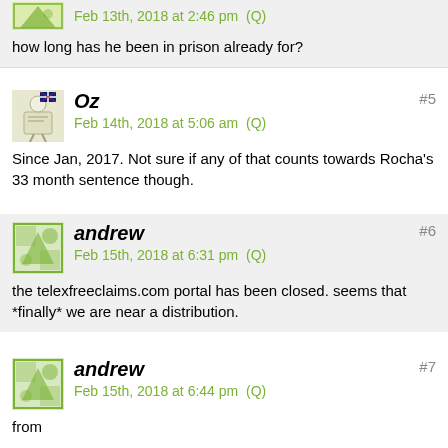Feb 13th, 2018 at 2:46 pm  (Q)
how long has he been in prison already for?
Oz
Feb 14th, 2018 at 5:06 am  (Q)
#5
Since Jan, 2017. Not sure if any of that counts towards Rocha's 33 month sentence though.
andrew
Feb 15th, 2018 at 6:31 pm  (Q)
#6
the telexfreeclaims.com portal has been closed. seems that *finally* we are near a distribution.
andrew
Feb 15th, 2018 at 6:44 pm  (Q)
#7
from